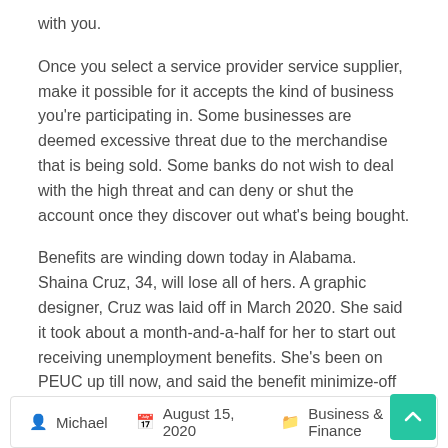with you.
Once you select a service provider service supplier, make it possible for it accepts the kind of business you’re participating in. Some businesses are deemed excessive threat due to the merchandise that is being sold. Some banks do not wish to deal with the high threat and can deny or shut the account once they discover out what’s being bought.
Benefits are winding down today in Alabama. Shaina Cruz, 34, will lose all of hers. A graphic designer, Cruz was laid off in March 2020. She said it took about a month-and-a-half for her to start out receiving unemployment benefits. She’s been on PEUC up till now, and said the benefit minimize-off comes at a “horrible” time.
...
Michael   August 15, 2020   Business & Finance